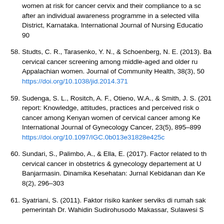women at risk for cancer cervix and their compliance to a screening after an individual awareness programme in a selected village, District, Karnataka. International Journal of Nursing Education, 90
58. Studts, C. R., Tarasenko, Y. N., & Schoenberg, N. E. (2013). Barriers to cervical cancer screening among middle-aged and older rural Appalachian women. Journal of Community Health, 38(3), 50. https://doi.org/10.1038/jid.2014.371
59. Sudenga, S. L., Rositch, A. F., Otieno, W.A., & Smith, J. S. (2013). report: Knowledge, attitudes, practices and perceived risk of cancer among Kenyan women of cervical cancer among Kenyan. International Journal of Gynecology Cancer, 23(5), 895–899. https://doi.org/10.1097/IGC.0b013e31828e425c
60. Sundari, S., Palimbo, A., & Ella, E. (2017). Factor related to the cervical cancer in obstetrics & gynecology departement at U Banjarmasin. Dinamika Kesehatan: Jurnal Kebidanan dan Ke 8(2), 296–303
61. Syatriani, S. (2011). Faktor risiko kanker serviks di rumah sakit pemerintah Dr. Wahidin Sudirohusodo Makassar, Sulawesi S